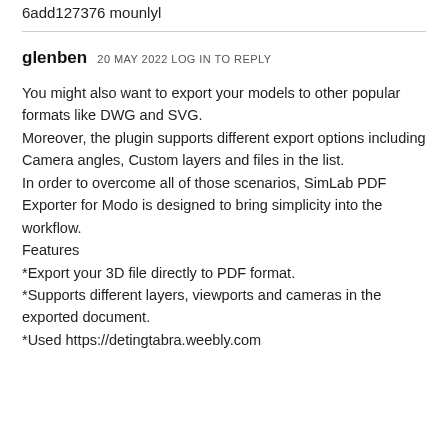6add127376 mounlyl
glenben 20 MAY 2022 LOG IN TO REPLY
You might also want to export your models to other popular formats like DWG and SVG.
Moreover, the plugin supports different export options including Camera angles, Custom layers and files in the list.
In order to overcome all of those scenarios, SimLab PDF Exporter for Modo is designed to bring simplicity into the workflow.
Features
*Export your 3D file directly to PDF format.
*Supports different layers, viewports and cameras in the exported document.
*Used https://detingtabra.weebly.com